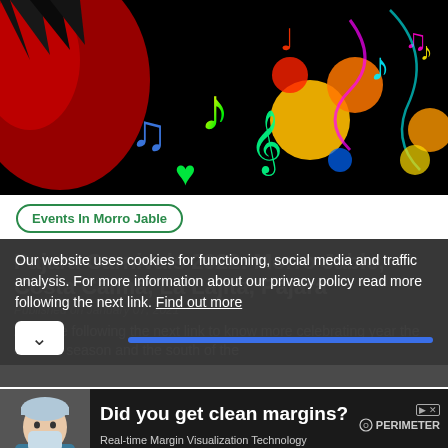[Figure (illustration): Colorful music notes and abstract shapes on black background — carnival/music themed hero image]
Events In Morro Jable
Pajara Carnivals 2022: Morro Jable, Costa Calma, La Lajita, Pajara
Published on January 07, 2021
All those following the next link to know more celebrating year the carnival season and the south of the
Our website uses cookies for functioning, social media and traffic analysis. For more information about our privacy policy read more following the next link. Find out more
[Figure (photo): Person in surgical mask and scrubs — medical professional]
Did you get clean margins?
Real-time Margin Visualization Technology
PERIMETER
See the Benefits